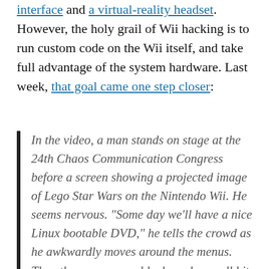interface and a virtual-reality headset. However, the holy grail of Wii hacking is to run custom code on the Wii itself, and take full advantage of the system hardware. Last week, that goal came one step closer:
In the video, a man stands on stage at the 24th Chaos Communication Congress before a screen showing a projected image of Lego Star Wars on the Nintendo Wii. He seems nervous. "Some day we'll have a nice Linux bootable DVD," he tells the crowd as he awkwardly moves around the menus. Then the screen goes black, and a small bit of codeâ€"really just a moving cursor with